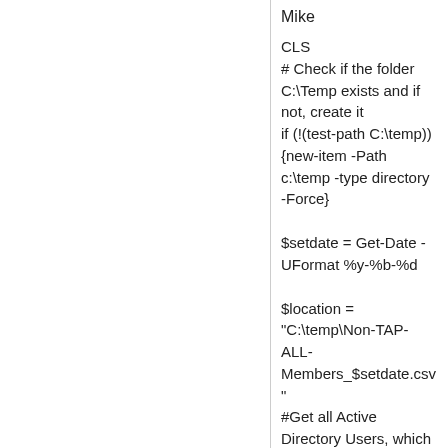Mike
CLS
# Check if the folder C:\Temp exists and if not, create it
if (!(test-path C:\temp)) {new-item -Path c:\temp -type directory -Force}
$setdate = Get-Date -UFormat %y-%b-%d
$location = "C:\temp\Non-TAP-ALL-Members_$setdate.csv"
#Get all Active Directory Users, which are not memeber of "TAP-ALL"
get-aduser -filter { -not (memberof -ne "TAP-ALL") } -Properties * | select SamAccountName, GivenName, Surname, Description, CanonicalName